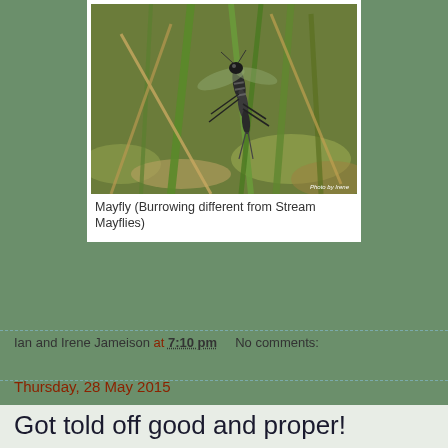[Figure (photo): Close-up photo of a Mayfly (Burrowing type) resting on green grass stems and dried vegetation. Photo credit: Irene.]
Mayfly (Burrowing different from Stream Mayflies)
Ian and Irene Jameison at 7:10 pm    No comments:
Thursday, 28 May 2015
Got told off good and proper!